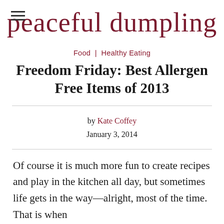peaceful dumpling
Food  |  Healthy Eating
Freedom Friday: Best Allergen Free Items of 2013
by Kate Coffey
January 3, 2014
Of course it is much more fun to create recipes and play in the kitchen all day, but sometimes life gets in the way—alright, most of the time. That is when